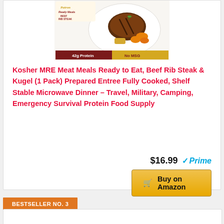[Figure (photo): Product image of Kosher MRE Beef Rib Steak Ready Meal packaging showing the meal with carrots, '42g Protein' and 'No MSG' labels]
Kosher MRE Meat Meals Ready to Eat, Beef Rib Steak & Kugel (1 Pack) Prepared Entree Fully Cooked, Shelf Stable Microwave Dinner – Travel, Military, Camping, Emergency Survival Protein Food Supply
$16.99 Prime
Buy on Amazon
BESTSELLER NO. 3